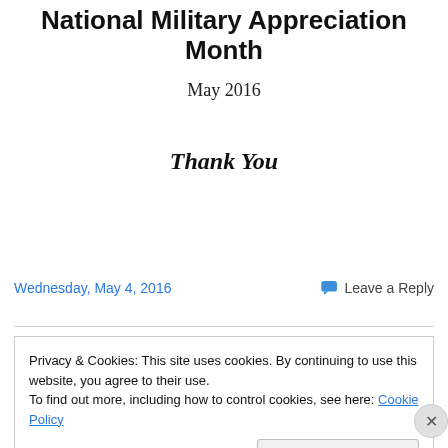National Military Appreciation Month
May 2016
Thank You
Wednesday, May 4, 2016
Leave a Reply
Privacy & Cookies: This site uses cookies. By continuing to use this website, you agree to their use.
To find out more, including how to control cookies, see here: Cookie Policy
Close and accept